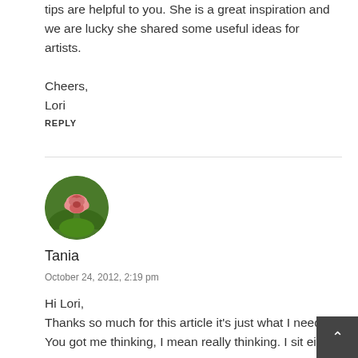tips are helpful to you. She is a great inspiration and we are lucky she shared some useful ideas for artists.
Cheers,
Lori
REPLY
[Figure (photo): Circular avatar image of a pink rose or flower against green leaves background]
Tania
October 24, 2012, 2:19 pm
Hi Lori,
Thanks so much for this article it's just what I needed.
You got me thinking, I mean really thinking. I sit either